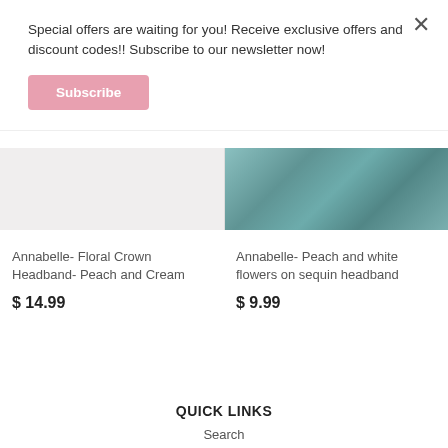Special offers are waiting for you! Receive exclusive offers and discount codes!! Subscribe to our newsletter now!
Subscribe
[Figure (photo): Left product image placeholder - light grey background for Floral Crown Headband]
[Figure (photo): Right product image - teal/blue sequin headband with flowers]
Annabelle- Floral Crown Headband- Peach and Cream
$ 14.99
Annabelle- Peach and white flowers on sequin headband
$ 9.99
QUICK LINKS
Search